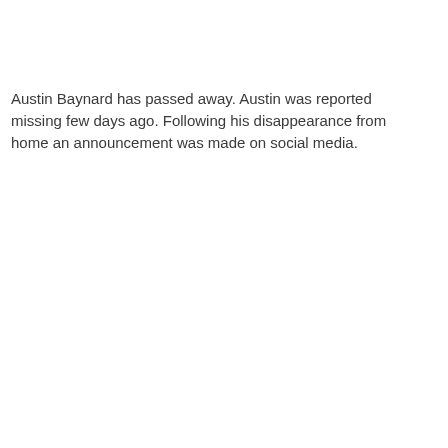Austin Baynard has passed away. Austin was reported missing few days ago. Following his disappearance from home an announcement was made on social media.